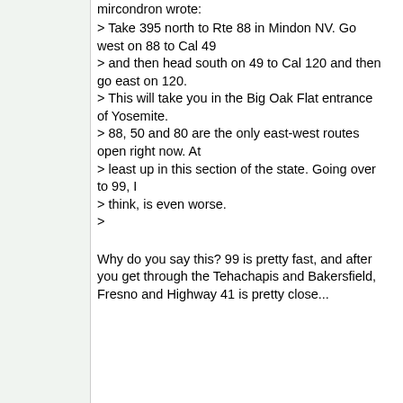mircondron wrote:
> Take 395 north to Rte 88 in Mindon NV. Go west on 88 to Cal 49
> and then head south on 49 to Cal 120 and then go east on 120.
> This will take you in the Big Oak Flat entrance of Yosemite.
> 88, 50 and 80 are the only east-west routes open right now. At
> least up in this section of the state. Going over to 99, I
> think, is even worse.
>
Why do you say this? 99 is pretty fast, and after you get through the Tehachapis and Bakersfield, Fresno and Highway 41 is pretty close...
Wilderness forever,
Bruce Jensen